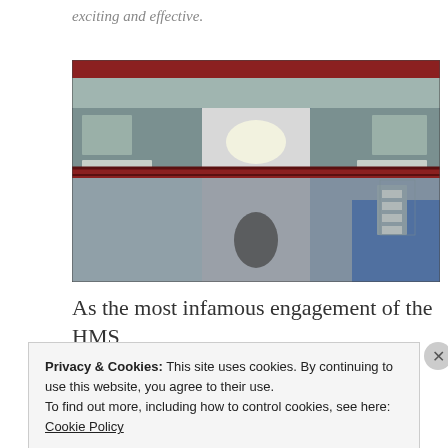exciting and effective.
[Figure (photo): Interior view of a military vessel or submarine showing equipment, machinery, controls, and crew members. The image has a wide-angle fisheye perspective showing a cramped space with red framing at top and middle, various mechanical and electronic equipment on both sides, and a central corridor with a bright light source in the background.]
As the most infamous engagement of the HMS
Privacy & Cookies: This site uses cookies. By continuing to use this website, you agree to their use.
To find out more, including how to control cookies, see here: Cookie Policy
Close and accept